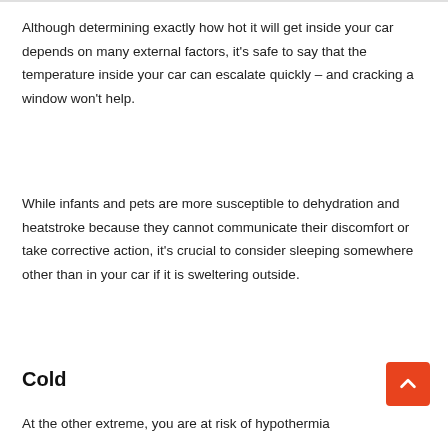Although determining exactly how hot it will get inside your car depends on many external factors, it's safe to say that the temperature inside your car can escalate quickly – and cracking a window won't help.
While infants and pets are more susceptible to dehydration and heatstroke because they cannot communicate their discomfort or take corrective action, it's crucial to consider sleeping somewhere other than in your car if it is sweltering outside.
Cold
At the other extreme, you are at risk of hypothermia